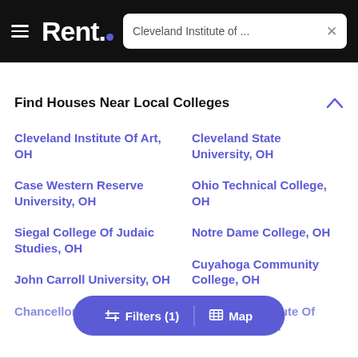Rent. | Cleveland Institute of ...
Find Houses Near Local Colleges
Cleveland Institute Of Art, OH
Cleveland State University, OH
Case Western Reserve University, OH
Ohio Technical College, OH
Notre Dame College, OH
Siegal College Of Judaic Studies, OH
Cuyahoga Community College, OH
John Carroll University, OH
Cleveland Institute Of Electronics, OH
Chancellor University, OH